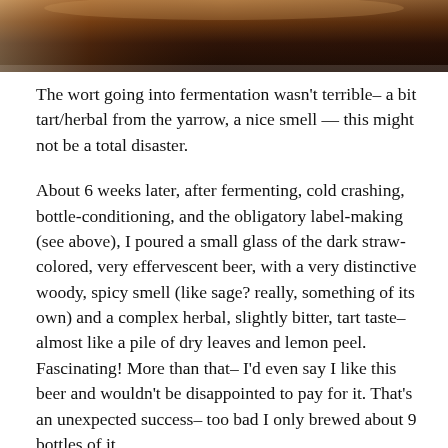[Figure (photo): Top portion of a dark brown beer or wort in a glass, cropped at the top of the image.]
The wort going into fermentation wasn't terrible– a bit tart/herbal from the yarrow, a nice smell — this might not be a total disaster.
About 6 weeks later, after fermenting, cold crashing, bottle-conditioning, and the obligatory label-making (see above), I poured a small glass of the dark straw-colored, very effervescent beer, with a very distinctive woody, spicy smell (like sage? really, something of its own) and a complex herbal, slightly bitter, tart taste– almost like a pile of dry leaves and lemon peel. Fascinating! More than that– I'd even say I like this beer and wouldn't be disappointed to pay for it. That's an unexpected success– too bad I only brewed about 9 bottles of it.